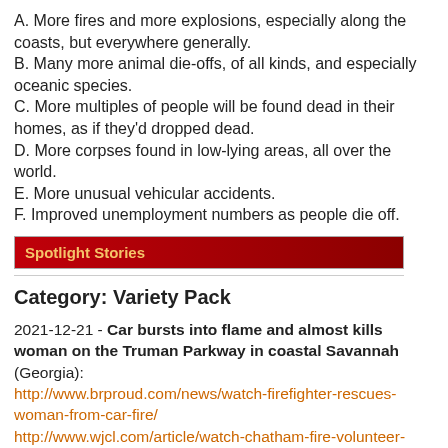A. More fires and more explosions, especially along the coasts, but everywhere generally.
B. Many more animal die-offs, of all kinds, and especially oceanic species.
C. More multiples of people will be found dead in their homes, as if they'd dropped dead.
D. More corpses found in low-lying areas, all over the world.
E. More unusual vehicular accidents.
F. Improved unemployment numbers as people die off.
Spotlight Stories
Category: Variety Pack
2021-12-21 - Car bursts into flame and almost kills woman on the Truman Parkway in coastal Savannah (Georgia): http://www.brproud.com/news/watch-firefighter-rescues-woman-from-car-fire/ http://www.wjcl.com/article/watch-chatham-fire-volunteer-saves-woman-from-burning-car/38585132